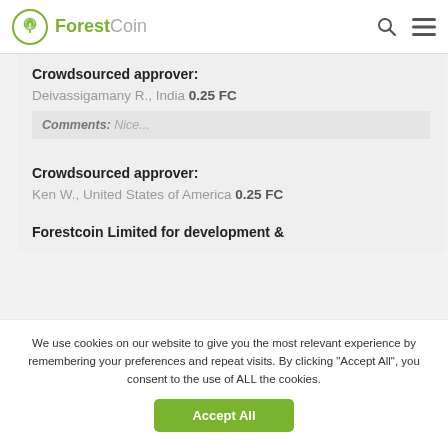ForestCoin
Crowdsourced approver:
Deivassigamany R., India 0.25 FC
Comments: Nice...
Crowdsourced approver:
Ken W., United States of America 0.25 FC
Forestcoin Limited for development &
We use cookies on our website to give you the most relevant experience by remembering your preferences and repeat visits. By clicking “Accept All”, you consent to the use of ALL the cookies.
Accept All